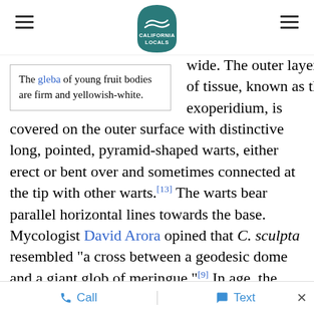California Locals [logo]
The gleba of young fruit bodies are firm and yellowish-white.
wide. The outer layer of tissue, known as the exoperidium, is covered on the outer surface with distinctive long, pointed, pyramid-shaped warts, either erect or bent over and sometimes connected at the tip with other warts.[13] The warts bear parallel horizontal lines towards the base. Mycologist David Arora opined that C. sculpta resembled "a cross between a geodesic dome and a giant glob of meringue."[9] In age, the peridium sloughs off and exposes a brownish spore mass. The interior of the puffball, the gleba, is firm and
Call   Text